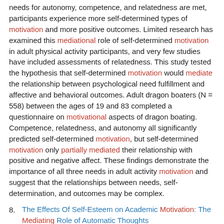needs for autonomy, competence, and relatedness are met, participants experience more self-determined types of motivation and more positive outcomes. Limited research has examined this mediational role of self-determined motivation in adult physical activity participants, and very few studies have included assessments of relatedness. This study tested the hypothesis that self-determined motivation would mediate the relationship between psychological need fulfillment and affective and behavioral outcomes. Adult dragon boaters (N = 558) between the ages of 19 and 83 completed a questionnaire on motivational aspects of dragon boating. Competence, relatedness, and autonomy all significantly predicted self-determined motivation, but self-determined motivation only partially mediated their relationship with positive and negative affect. These findings demonstrate the importance of all three needs in adult activity motivation and suggest that the relationships between needs, self-determination, and outcomes may be complex.
8. The Effects Of Self-Esteem on Academic Motivation: The Mediating Role of Automatic Thoughts
Directory of Open Access Journals (Sweden)